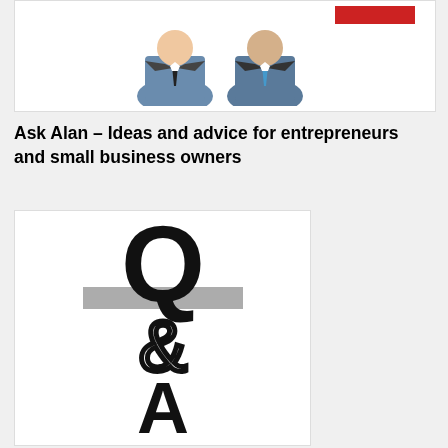[Figure (illustration): Illustration of two businessmen in suits shaking hands or posing, with a red accent element in the background, on a white background]
Ask Alan – Ideas and advice for entrepreneurs and small business owners
[Figure (illustration): Q&A logo graphic showing a large bold Q, an ampersand symbol with a circle, and a large bold A rendered in black on white background, stacked vertically]